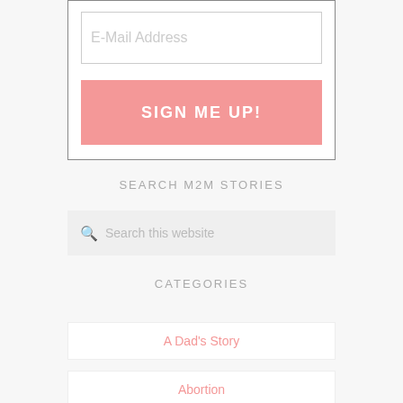E-Mail Address
SIGN ME UP!
SEARCH M2M STORIES
Search this website
CATEGORIES
A Dad's Story
Abortion